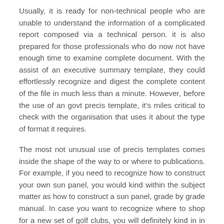Usually, it is ready for non-technical people who are unable to understand the information of a complicated report composed via a technical person. it is also prepared for those professionals who do now not have enough time to examine complete document. With the assist of an executive summary template, they could effortlessly recognize and digest the complete content of the file in much less than a minute. However, before the use of an govt precis template, it's miles critical to check with the organisation that uses it about the type of format it requires.
The most not unusual use of precis templates comes inside the shape of the way to or where to publications. For example, if you need to recognize how to construct your own sun panel, you would kind within the subject matter as how to construct a sun panel, grade by grade manual. In case you want to recognize where to shop for a new set of golf clubs, you will definitely kind in in which to shop for golf clubs. any article brief of a totally